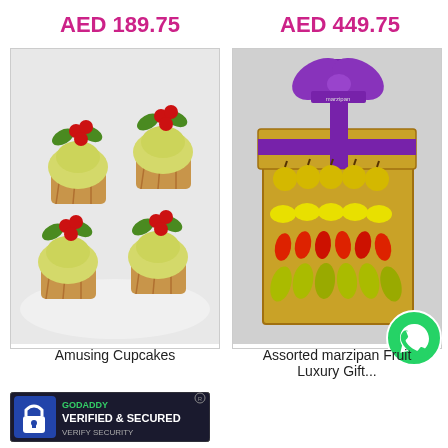AED 189.75
AED 449.75
[Figure (photo): Four cupcakes with yellow frosting, green holly leaf decorations, and red berry clusters on a white plate]
[Figure (photo): Gold gift box with purple ribbon, containing assorted marzipan fruits shaped like apples, lemons, chili peppers, and bananas]
[Figure (logo): WhatsApp icon — green circle with white phone/chat logo]
Amusing Cupcakes
Assorted marzipan Fruit Luxury Gift...
[Figure (logo): GoDaddy Verified & Secured badge with padlock icon]